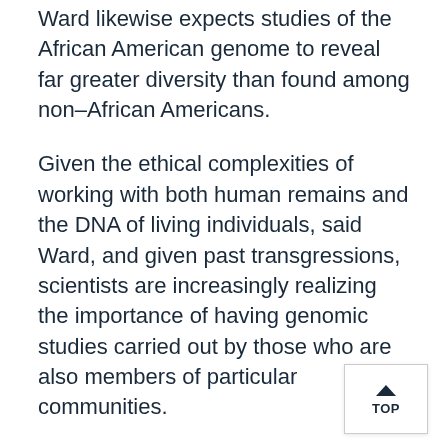Ward likewise expects studies of the African American genome to reveal far greater diversity than found among non–African Americans.
Given the ethical complexities of working with both human remains and the DNA of living individuals, said Ward, and given past transgressions, scientists are increasingly realizing the importance of having genomic studies carried out by those who are also members of particular communities.
This makes the Cobb Lab's work, rooted as it is in Howard's mission and history, vitally important.